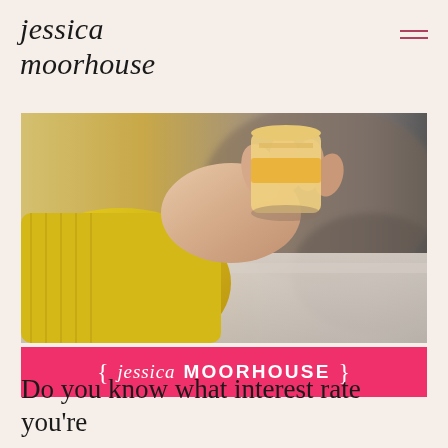jessica moorhouse
[Figure (photo): Photo of a person in a yellow sweater holding a coffee cup, with a pink branded bar at the bottom reading '{ jessica MOORHOUSE }']
Do you know what interest rate you're